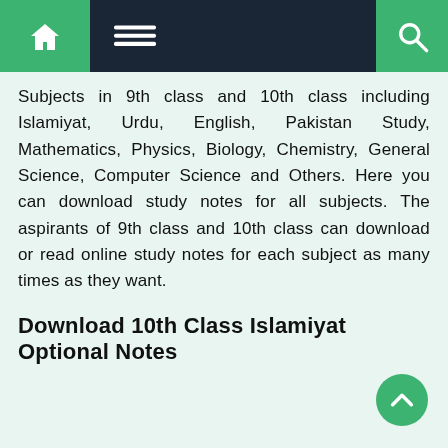Navigation bar with home, menu, and search icons
Subjects in 9th class and 10th class including Islamiyat, Urdu, English, Pakistan Study, Mathematics, Physics, Biology, Chemistry, General Science, Computer Science and Others. Here you can download study notes for all subjects. The aspirants of 9th class and 10th class can download or read online study notes for each subject as many times as they want.
Download 10th Class Islamiyat Optional Notes